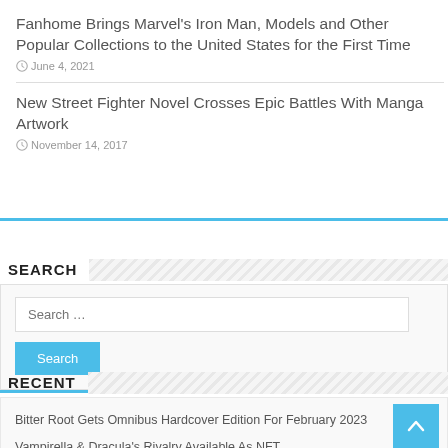Fanhome Brings Marvel's Iron Man, Models and Other Popular Collections to the United States for the First Time
June 4, 2021
New Street Fighter Novel Crosses Epic Battles With Manga Artwork
November 14, 2017
SEARCH
Search …
RECENT
Bitter Root Gets Omnibus Hardcover Edition For February 2023
Vampirella & Dracula's Rivalry Available As NFT